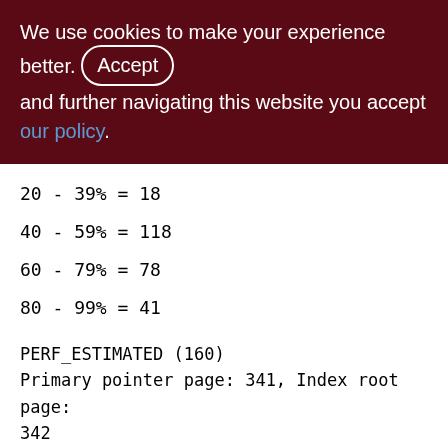We use cookies to make your experience better. By accepting and further navigating this website you accept our policy.
20 - 39% = 18
40 - 59% = 118
60 - 79% = 78
80 - 99% = 41
PERF_ESTIMATED (160)
Primary pointer page: 341, Index root page: 342
Total formats: 1, used formats: 1
Average record length: 27.97, total records: 280995
Average version length: 0.00, total